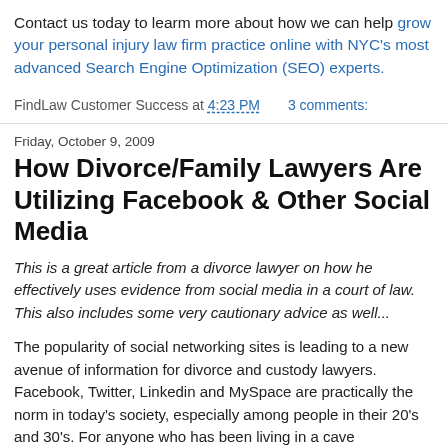Contact us today to learm more about how we can help grow your personal injury law firm practice online with NYC's most advanced Search Engine Optimization (SEO) experts.
FindLaw Customer Success at 4:23 PM    3 comments:
Friday, October 9, 2009
How Divorce/Family Lawyers Are Utilizing Facebook & Other Social Media
This is a great article from a divorce lawyer on how he effectively uses evidence from social media in a court of law. This also includes some very cautionary advice as well...
The popularity of social networking sites is leading to a new avenue of information for divorce and custody lawyers. Facebook, Twitter, Linkedin and MySpace are practically the norm in today's society, especially among people in their 20's and 30's. For anyone who has been living in a cave